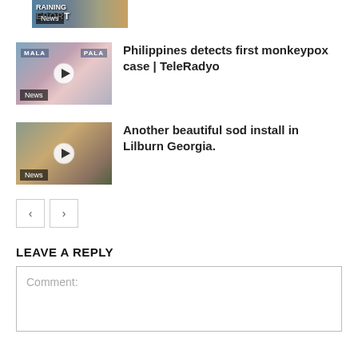[Figure (screenshot): Partial thumbnail at top showing news report image with text RAINING REPORT and News badge]
[Figure (screenshot): Video thumbnail showing Philippine press briefing with woman in mask, News badge, play button]
Philippines detects first monkeypox case | TeleRadyo
[Figure (screenshot): Video thumbnail showing outdoor scene Lilburn Georgia sod install, News badge, play button]
Another beautiful sod install in Lilburn Georgia.
< >
LEAVE A REPLY
Comment: